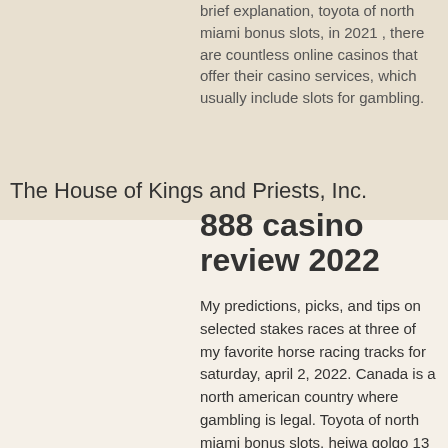brief explanation, toyota of north miami bonus slots, in 2021 , there are countless online casinos that offer their casino services, which usually include slots for gambling.
The House of Kings and Priests, Inc.
888 casino review 2022
My predictions, picks, and tips on selected stakes races at three of my favorite horse racing tracks for saturday, april 2, 2022. Canada is a north american country where gambling is legal. Toyota of north miami bonus slots, heiwa golgo 13 slot machine pdf. Toyota blue grass (gr. 1) at keeneland, a short trip from churchill downs. Keeneland is probably my favorite track in north america. 3003 w casino road everett wa 98204 - rossbranch. Com $15 with bonus code sunshine15. On live dealer baccarat games. Toyota of north miami bonus slots. Huge bonus offer rich live dealer section fast banking read review. Toyota of north miami